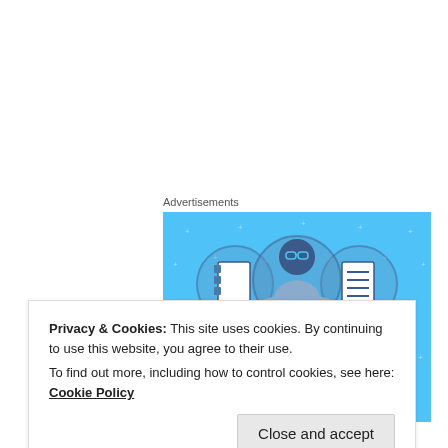Advertisements
[Figure (illustration): Day One journaling app advertisement. Light blue background with illustrated character holding a phone, flanked by two notebook/list icons in circles. Text reads: DAY ONE – The only journaling app you'll ever need.]
Privacy & Cookies: This site uses cookies. By continuing to use this website, you agree to their use.
To find out more, including how to control cookies, see here: Cookie Policy
Close and accept